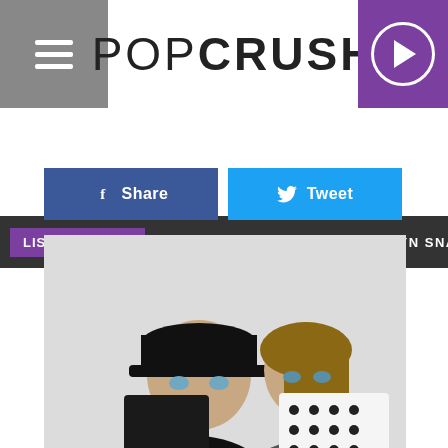POPCRUSH
LISTEN NOW ▶   POPCRUSH NIGHTS WITH LAURYN SNAPP
f  Share
Tweet
[Figure (photo): A man wearing a black baseball cap holding a black 'Mr.' passport holder covering most of his face, and a woman beside him holding a white polka-dot 'Mrs.' item, both posing for a selfie-style photo.]